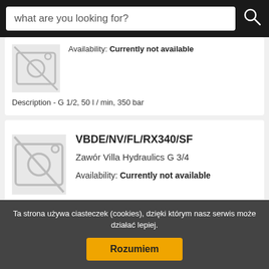what are you looking for?
Availability: Currently not available
Description - G 1/2, 50 l / min, 350 bar
[Figure (illustration): No-image camera placeholder icon (greyed out)]
VBDE/NV/FL/RX340/SF
Zawór Villa Hydraulics G 3/4
Availability: Currently not available
Ta strona używa ciasteczek (cookies), dzięki którym nasz serwis może działać lepiej.
Rozumiem